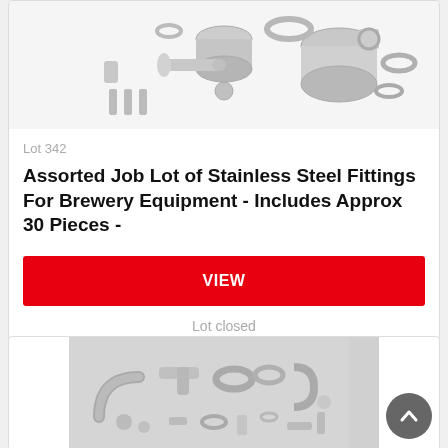[Figure (photo): Photo of assorted stainless steel fittings for brewery equipment — various cylindrical, ring, and bolt pieces scattered on white background]
Lot 342
Assorted Job Lot of Stainless Steel Fittings For Brewery Equipment - Includes Approx 30 Pieces -
VIEW
Lot closed
[Figure (photo): Photo of assorted stainless steel pipe fittings including elbow joints, rings, clamps, and various connectors on grey background]